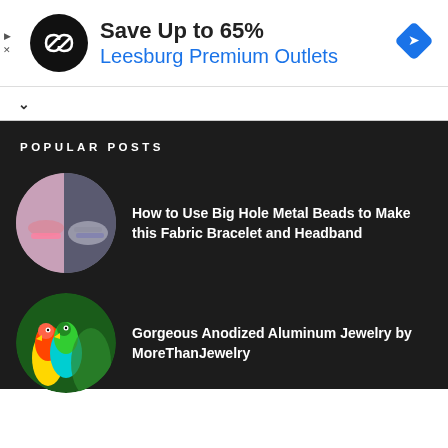[Figure (screenshot): Ad banner: Save Up to 65% at Leesburg Premium Outlets with logo and navigation icon]
Save Up to 65%
Leesburg Premium Outlets
POPULAR POSTS
[Figure (photo): Circular thumbnail of fabric bracelet and headband with big hole metal beads]
How to Use Big Hole Metal Beads to Make this Fabric Bracelet and Headband
[Figure (photo): Circular thumbnail of colorful parrots with green background for anodized aluminum jewelry post]
Gorgeous Anodized Aluminum Jewelry by MoreThanJewelry